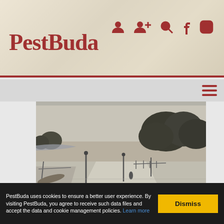PestBuda
[Figure (photo): Black and white historical photograph showing a wide road or path with lamp posts, trees on the right side, and open landscape in the background]
The construction of the National Museum began in 185 years
The construction of the Hungarian National Museum began 185 years ago. Alfalfa was previously grown on the then suburban plot, which had already been
PestBuda uses cookies to ensure a better user experience. By visiting PestBuda, you agree to receive such data files and accept the data and cookie management policies. Learn more